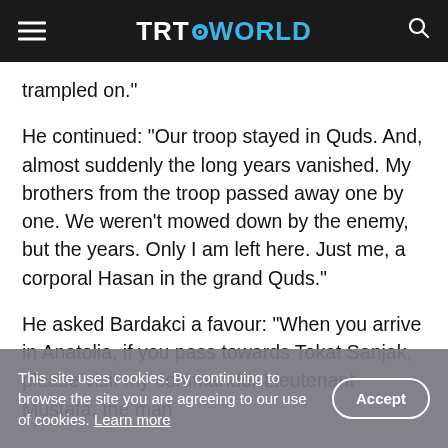TRT WORLD
trampled on."
He continued: “Our troop stayed in Quds. And, almost suddenly the long years vanished. My brothers from the troop passed away one by one. We weren’t mowed down by the enemy, but the years. Only I am left here. Just me, a corporal Hasan in the grand Quds.”
He asked Bardakci a favour: “When you arrive in Anatolia, if you pass towards Tokat Sanjak, please visit my commander Lieutenant Mustafa, the man
This site uses cookies. By continuing to browse the site you are agreeing to our use of cookies. Learn more